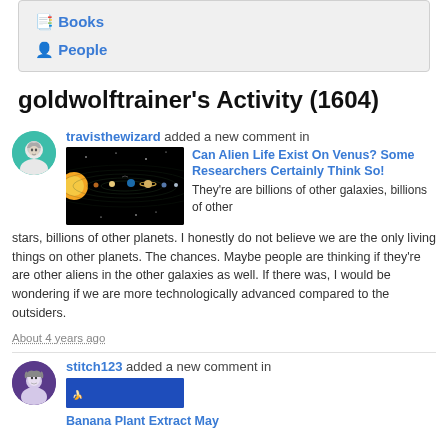📘 Books
👤 People
goldwolftrainer's Activity (1604)
travisthewizard added a new comment in Can Alien Life Exist On Venus? Some Researchers Certainly Think So! They're are billions of other galaxies, billions of other stars, billions of other planets. I honestly do not believe we are the only living things on other planets. The chances. Maybe people are thinking if they're are other aliens in the other galaxies as well. If there was, I would be wondering if we are more technologically advanced compared to the outsiders. About 4 years ago
stitch123 added a new comment in Banana Plant Extract May